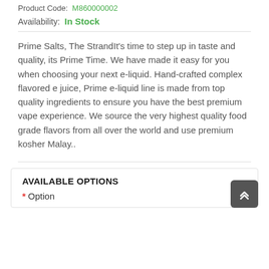Product Code:  M860000002
Availability:  In Stock
Prime Salts, The StrandIt’s time to step up in taste and quality, its Prime Time. We have made it easy for you when choosing your next e-liquid. Hand-crafted complex flavored e juice, Prime e-liquid line is made from top quality ingredients to ensure you have the best premium vape experience. We source the very highest quality food grade flavors from all over the world and use premium kosher Malay..
AVAILABLE OPTIONS
* Option